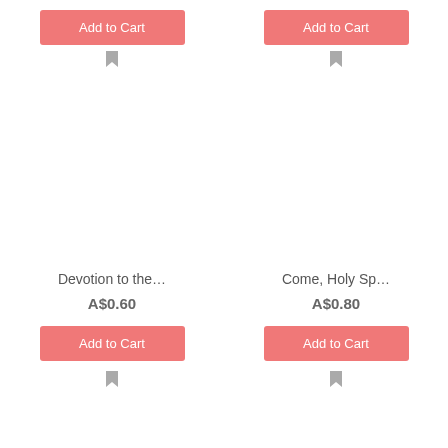[Figure (other): Add to Cart button (top left) for first product]
[Figure (other): Add to Cart button (top right) for second product]
[Figure (photo): Product image placeholder for Devotion to the...]
[Figure (photo): Product image placeholder for Come, Holy Sp...]
Devotion to the…
A$0.60
Come, Holy Sp…
A$0.80